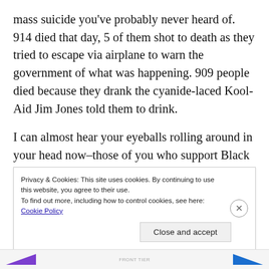mass suicide you've probably never heard of. 914 died that day, 5 of them shot to death as they tried to escape via airplane to warn the government of what was happening. 909 people died because they drank the cyanide-laced Kool-Aid Jim Jones told them to drink.
I can almost hear your eyeballs rolling around in your head now–those of you who support Black Jaguar White Tiger, anyway. You're thinking 'How could 909 people be so stupid as to listen to one guy telling them
Privacy & Cookies: This site uses cookies. By continuing to use this website, you agree to their use.
To find out more, including how to control cookies, see here: Cookie Policy
Close and accept